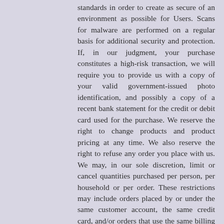standards in order to create as secure of an environment as possible for Users. Scans for malware are performed on a regular basis for additional security and protection. If, in our judgment, your purchase constitutes a high-risk transaction, we will require you to provide us with a copy of your valid government-issued photo identification, and possibly a copy of a recent bank statement for the credit or debit card used for the purchase. We reserve the right to change products and product pricing at any time. We also reserve the right to refuse any order you place with us. We may, in our sole discretion, limit or cancel quantities purchased per person, per household or per order. These restrictions may include orders placed by or under the same customer account, the same credit card, and/or orders that use the same billing and/or shipping address. In the event that we make a change to or cancel an order, we may attempt to notify you by contacting the e-mail and/or billing address/phone number provided at the time the order was made.
Accuracy of information